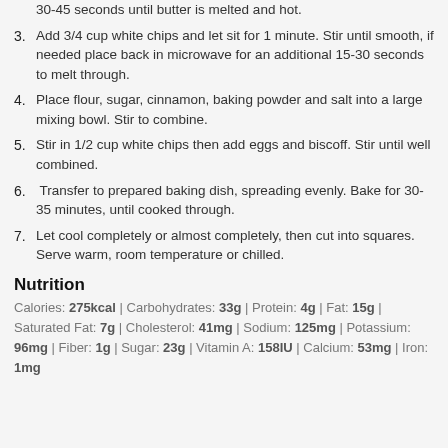30-45 seconds until butter is melted and hot.
3. Add 3/4 cup white chips and let sit for 1 minute. Stir until smooth, if needed place back in microwave for an additional 15-30 seconds to melt through.
4. Place flour, sugar, cinnamon, baking powder and salt into a large mixing bowl. Stir to combine.
5. Stir in 1/2 cup white chips then add eggs and biscoff. Stir until well combined.
6. Transfer to prepared baking dish, spreading evenly. Bake for 30-35 minutes, until cooked through.
7. Let cool completely or almost completely, then cut into squares. Serve warm, room temperature or chilled.
Nutrition
Calories: 275kcal | Carbohydrates: 33g | Protein: 4g | Fat: 15g | Saturated Fat: 7g | Cholesterol: 41mg | Sodium: 125mg | Potassium: 96mg | Fiber: 1g | Sugar: 23g | Vitamin A: 158IU | Calcium: 53mg | Iron: 1mg